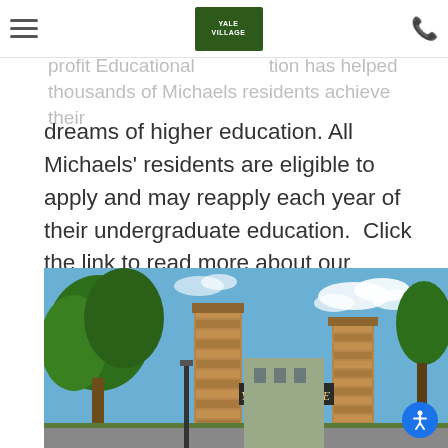[hamburger menu] [Yale Village logo] [phone icon]
Organization. Education Foundation. The nonprofit Educational Foundation has helped thousands of Michaels residents achieve their dreams of higher education. All Michaels' residents are eligible to apply and may reapply each year of their undergraduate education.  Click the link to read more about our scholarship opportunities: https://www.michaelsscholars.com/
[Figure (photo): Exterior photo of Yale Village apartment community showing brick entrance pillars with 'YALE VILLAGE' signage, green trees, and blue sky with clouds]